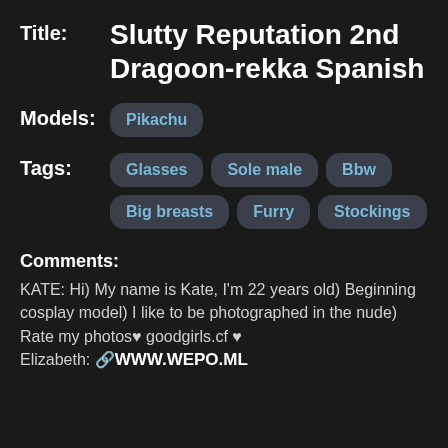Slutty Reputation 2nd Dragoon-rekka Spanish
Models: Pikachu
Tags: Glasses, Sole male, Bbw, Big breasts, Furry, Stockings
Comments:
KATE: Hi) My name is Kate, I'm 22 years old) Beginning cosplay model) I like to be photographed in the nude) Rate my photos♥ goodgirls.cf ♥
Elizabeth: 🔗WWW.WEPO.ML